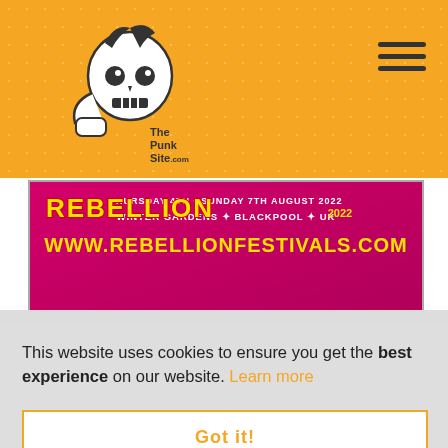ThePunkSite.com
[Figure (screenshot): Rebellion Festival banner: THURSDAY 4TH - SUNDAY 7TH AUGUST 2022, WINTER GARDENS * BLACKPOOL * UK, WWW.REBELLIONFESTIVALS.COM on pink/red background]
[Figure (other): Five gold/orange star rating icons]
Rebellion Festival / R-Fest
This website uses cookies to ensure you get the best experience on our website. Learn more
Got it!